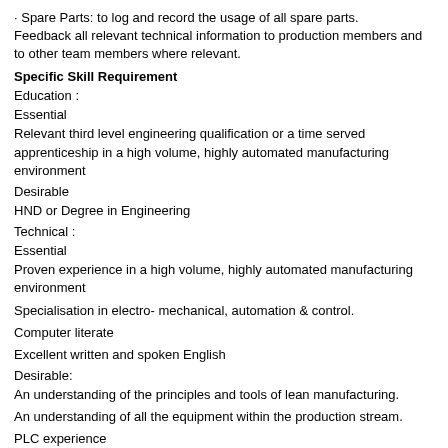· Spare Parts: to log and record the usage of all spare parts.
Feedback all relevant technical information to production members and to other team members where relevant.
Specific Skill Requirement
Education :
Essential
Relevant third level engineering qualification or a time served apprenticeship in a high volume, highly automated manufacturing environment
Desirable
HND or Degree in Engineering
Technical :
Essential
Proven experience in a high volume, highly automated manufacturing environment
Specialisation in electro- mechanical, automation & control.
Computer literate
Excellent written and spoken English
Desirable:
An understanding of the principles and tools of lean manufacturing.
An understanding of all the equipment within the production stream.
PLC experience